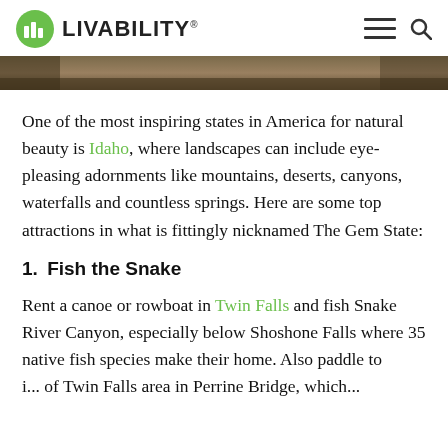LIVABILITY
[Figure (photo): Narrow landscape photo strip showing a scenic Idaho landscape with warm earthy tones]
One of the most inspiring states in America for natural beauty is Idaho, where landscapes can include eye-pleasing adornments like mountains, deserts, canyons, waterfalls and countless springs. Here are some top attractions in what is fittingly nicknamed The Gem State:
1.  Fish the Snake
Rent a canoe or rowboat in Twin Falls and fish Snake River Canyon, especially below Shoshone Falls where 35 native fish species make their home. Also paddle to i... of Twin Falls area in Perrine Bridge, which...